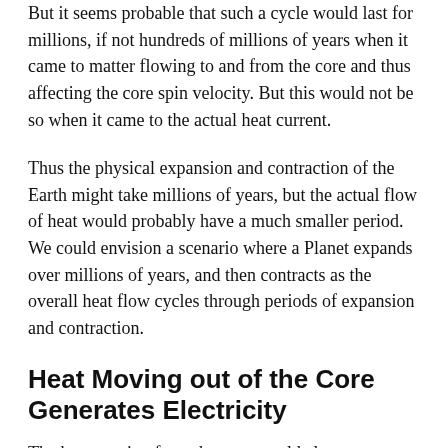But it seems probable that such a cycle would last for millions, if not hundreds of millions of years when it came to matter flowing to and from the core and thus affecting the core spin velocity. But this would not be so when it came to the actual heat current.
Thus the physical expansion and contraction of the Earth might take millions of years, but the actual flow of heat would probably have a much smaller period. We could envision a scenario where a Planet expands over millions of years, and then contracts as the overall heat flow cycles through periods of expansion and contraction.
Heat Moving out of the Core Generates Electricity
The heat moving from the core would almost certainly generate an electric current in the general direction of the heat conduction. Thus we would see the generation of an